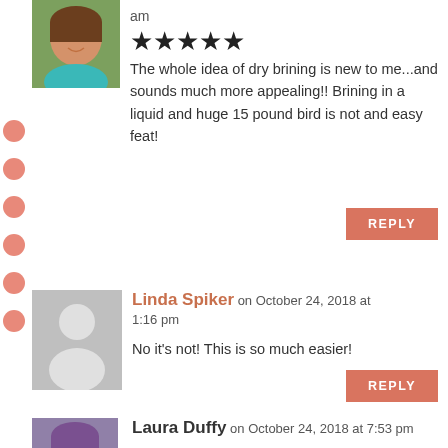[Figure (photo): Profile photo of a smiling woman with short brown hair wearing a teal top, in a square frame]
am
[Figure (other): Five black filled star rating icons]
The whole idea of dry brining is new to me...and sounds much more appealing!! Brining in a liquid and huge 15 pound bird is not and easy feat!
REPLY
[Figure (other): Gray placeholder avatar silhouette icon]
Linda Spiker on October 24, 2018 at 1:16 pm
No it's not! This is so much easier!
REPLY
[Figure (photo): Profile photo of Laura Duffy with purple-tinted hair]
Laura Duffy on October 24, 2018 at 7:53 pm
I've never heard of dry brining, but now